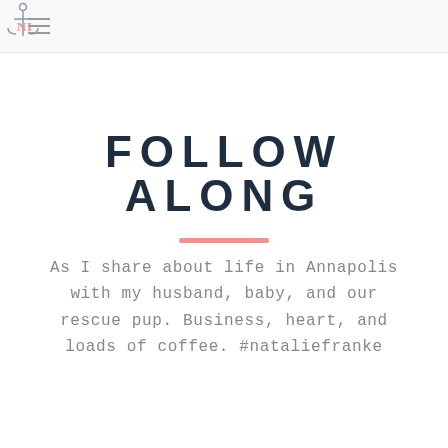NI logo and navigation
FOLLOW ALONG
As I share about life in Annapolis with my husband, baby, and our rescue pup. Business, heart, and loads of coffee. #nataliefranke